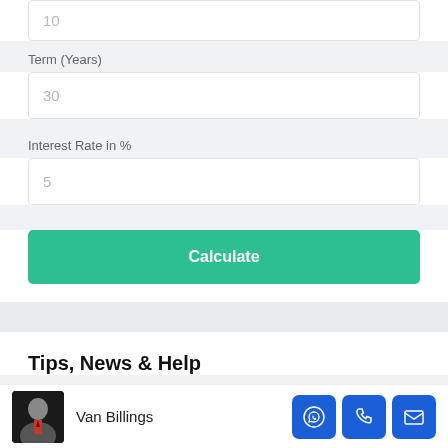10
Term (Years)
30
Interest Rate in %
5
Calculate
Tips, News & Help
Van Billings